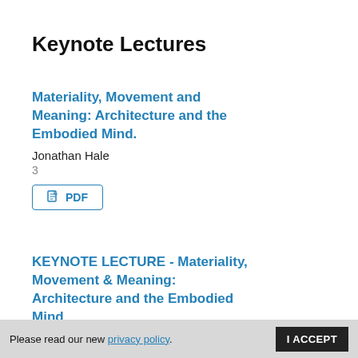Keynote Lectures
Materiality, Movement and Meaning: Architecture and the Embodied Mind.
Jonathan Hale
3
[Figure (other): PDF button with document icon]
KEYNOTE LECTURE - Materiality, Movement & Meaning: Architecture and the Embodied Mind
Jonathan Hale
305-314
[Figure (other): Partially visible PDF button]
Please read our new privacy policy.